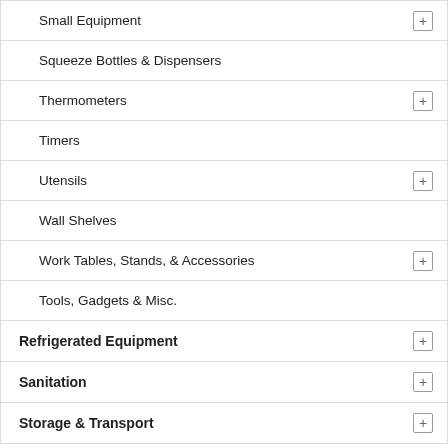| Small Equipment | + |
| Squeeze Bottles & Dispensers |  |
| Thermometers | + |
| Timers |  |
| Utensils | + |
| Wall Shelves |  |
| Work Tables, Stands, & Accessories | + |
| Tools, Gadgets & Misc. |  |
| Refrigerated Equipment | + |
| Sanitation | + |
| Storage & Transport | + |
Home
Online Catalog
Kitchen